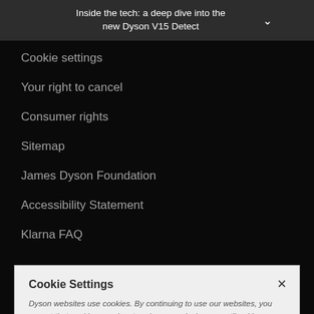Inside the tech: a deep dive into the new Dyson V15 Detect
Cookie settings
Your right to cancel
Consumer rights
Sitemap
James Dyson Foundation
Accessibility Statement
Klarna FAQ
Cookie Settings
Dyson websites use cookies. By continuing to use our websites, you accept that cookies may be stored on your device, as outlined in our Cookie Policy